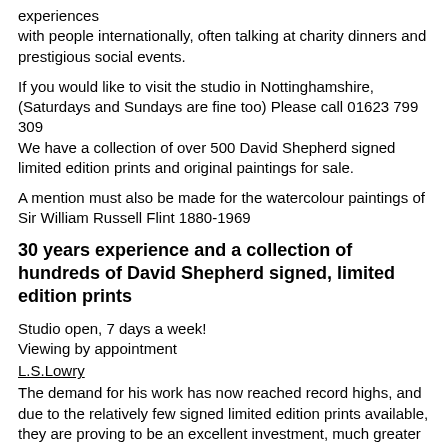experiences
with people internationally, often talking at charity dinners and prestigious social events.
If you would like to visit the studio in Nottinghamshire, (Saturdays and Sundays are fine too) Please call 01623 799 309
We have a collection of over 500 David Shepherd signed limited edition prints and original paintings for sale.
A mention must also be made for the watercolour paintings of Sir William Russell Flint 1880-1969
30 years experience and a collection of hundreds of David Shepherd signed, limited edition prints
Studio open, 7 days a week!
Viewing by appointment
L.S.Lowry
The demand for his work has now reached record highs, and due to the relatively few signed limited edition prints available,
they are proving to be an excellent investment, much greater than any current banking investments.